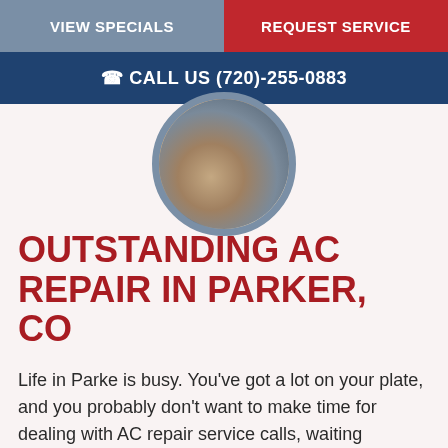VIEW SPECIALS | REQUEST SERVICE
CALL US (720)-255-0883
[Figure (photo): Circular photo of a technician working on HVAC/AC equipment]
OUTSTANDING AC REPAIR IN PARKER, CO
Life in Parke is busy. You've got a lot on your plate, and you probably don't want to make time for dealing with AC repair service calls, waiting